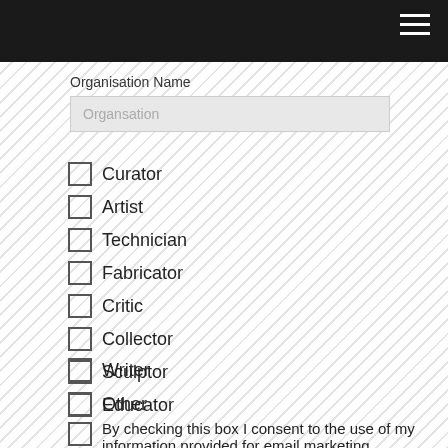Organisation Name
Organsation
Curator
Artist
Technician
Fabricator
Critic
Collector
Sculptor
Educator
Writer
Other
By checking this box I consent to the use of my information provided for email marketing purposes.